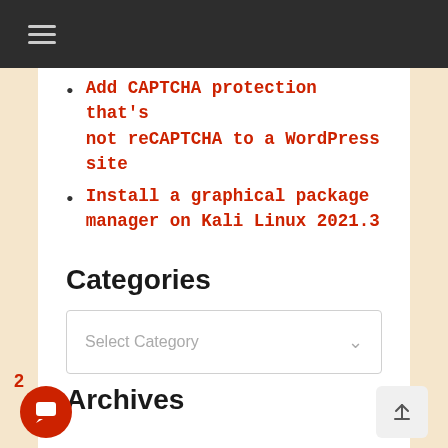≡
Add CAPTCHA protection that's not reCAPTCHA to a WordPress site
Install a graphical package manager on Kali Linux 2021.3
Categories
Select Category
Archives